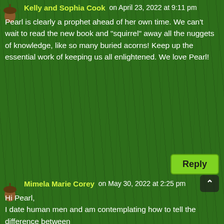Kelly and Sophia Cook on April 23, 2022 at 9:11 pm
Pearl is clearly a prophet ahead of her own time. We can't wait to read the new book and "squirrel" away all the nuggets of knowledge, like so many buried acorns! Keep up the essential work of keeping us all enlightened. We love Pearl!
Reply
Mimela Marie Corey on May 30, 2022 at 2:25 pm
Hi Pearl,
I date human men and am contemplating how to tell the difference between